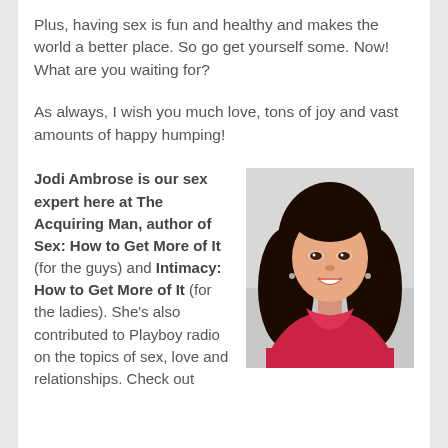Plus, having sex is fun and healthy and makes the world a better place. So go get yourself some. Now! What are you waiting for?
As always, I wish you much love, tons of joy and vast amounts of happy humping!
Jodi Ambrose is our sex expert here at The Acquiring Man, author of Sex: How to Get More of It (for the guys) and Intimacy: How to Get More of It (for the ladies). She's also contributed to Playboy radio on the topics of sex, love and relationships. Check out
[Figure (photo): Professional headshot of Jodi Ambrose, a woman with long dark hair wearing a red/pink top, smiling at the camera against a light background.]